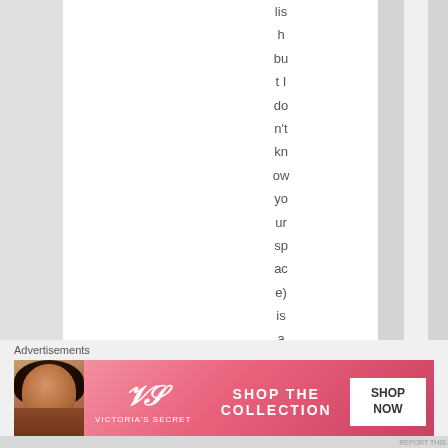lis h but I don't know your space) is a painted
[Figure (screenshot): Web page screenshot showing vertical text content 'lish but I don't know your space) is a painted' displayed in a multi-column striped layout with white and gray columns]
Advertisements
[Figure (screenshot): Victoria's Secret advertisement banner with model, VS logo, 'SHOP THE COLLECTION' text and 'SHOP NOW' button]